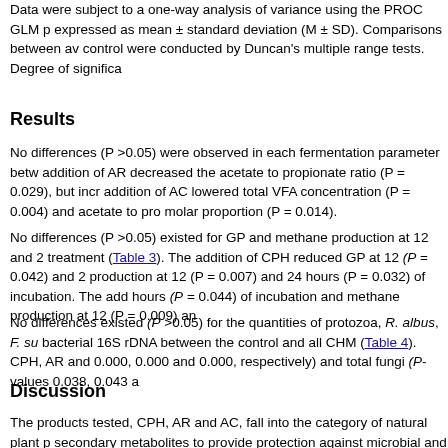Data were subject to a one-way analysis of variance using the PROC GLM p expressed as mean ± standard deviation (M ± SD). Comparisons between av control were conducted by Duncan's multiple range tests. Degree of significa
Results
No differences (P >0.05) were observed in each fermentation parameter betw addition of AR decreased the acetate to propionate ratio (P = 0.029), but incr addition of AC lowered total VFA concentration (P = 0.004) and acetate to pro molar proportion (P = 0.014).
No differences (P >0.05) existed for GP and methane production at 12 and 2 treatment (Table 3). The addition of CPH reduced GP at 12 (P = 0.042) and 2 production at 12 (P = 0.007) and 24 hours (P = 0.032) of incubation. The add hours (P = 0.044) of incubation and methane production at 12 (P = 0.009) an
No differences existed (P >0.05) for the quantities of protozoa, R. albus, F. su bacterial 16S rDNA between the control and all CHM (Table 4). CPH, AR and 0.000, 0.000 and 0.000, respectively) and total fungi (P-values 0.038, 0.043 a
Discussion
The products tested, CPH, AR and AC, fall into the category of natural plant p secondary metabolites to provide protection against microbial and insect atta interest in the use of plants that contain phytochemicals and their extracts to both ruminant and non-ruminant livestock (Greathead, 2003; Wang & Wang, structured into terpenes and isoprenoids, phenols and alkaloids. The four ma